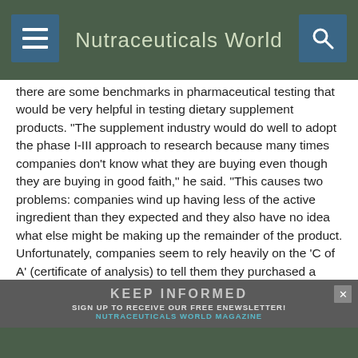Nutraceuticals World
there are some benchmarks in pharmaceutical testing that would be very helpful in testing dietary supplement products. "The supplement industry would do well to adopt the phase I-III approach to research because many times companies don’t know what they are buying even though they are buying in good faith," he said. "This causes two problems: companies wind up having less of the active ingredient than they expected and they also have no idea what else might be making up the remainder of the product. Unfortunately, companies seem to rely heavily on the ‘C of A’ (certificate of analysis) to tell them they purchased a 99% pure product, when in fact it is likely much less than that."
[Figure (infographic): Advertisement banner: KEEP INFORMED - SIGN UP TO RECEIVE OUR FREE ENEWSLETTER! NUTRACEUTICALS WORLD MAGAZINE]